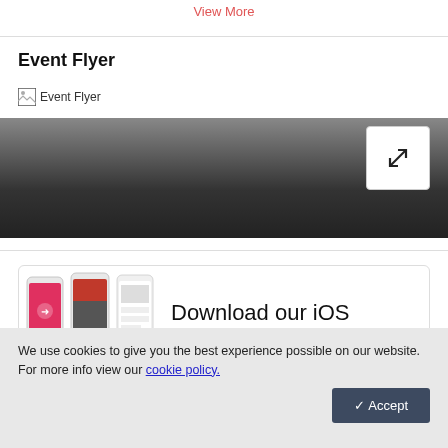View More
Event Flyer
[Figure (photo): Event Flyer broken image placeholder with dark gradient area and expand/fullscreen button in top right corner]
[Figure (photo): Three smartphone mockups showing iOS app screens with pink and dark UI]
Download our iOS app
We use cookies to give you the best experience possible on our website. For more info view our cookie policy.